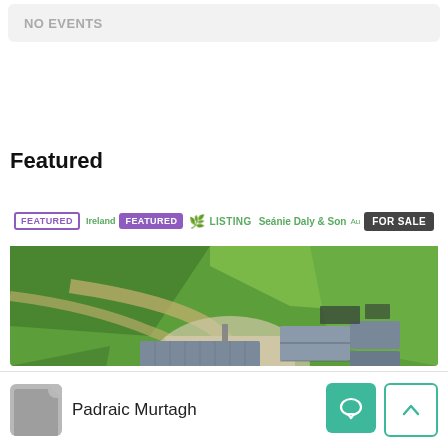NO EVENTS
Featured
[Figure (photo): Aerial view of a farm with large grey metal buildings/sheds surrounded by green fields, with dirt tracks visible. Overlaid badges: FEATURED (outline), FEATURED (filled purple), Ireland Listing logo, Seánie Daly & Son agent name, FOR SALE badge.]
Padraic Murtagh